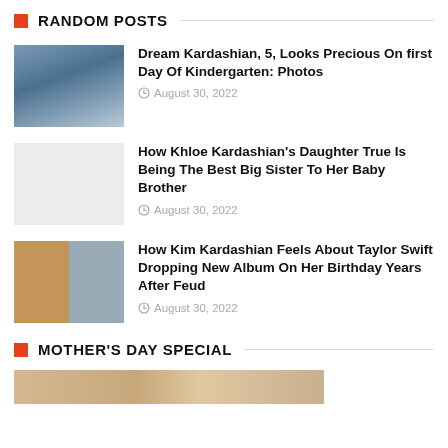RANDOM POSTS
[Figure (photo): Young girl with curly hair on first day of kindergarten]
Dream Kardashian, 5, Looks Precious On first Day Of Kindergarten: Photos
August 30, 2022
[Figure (photo): Blank thumbnail placeholder]
How Khloe Kardashian's Daughter True Is Being The Best Big Sister To Her Baby Brother
August 30, 2022
[Figure (photo): Split photo of Kim Kardashian and Taylor Swift]
How Kim Kardashian Feels About Taylor Swift Dropping New Album On Her Birthday Years After Feud
August 30, 2022
MOTHER'S DAY SPECIAL
[Figure (photo): Partial photo at bottom of page]